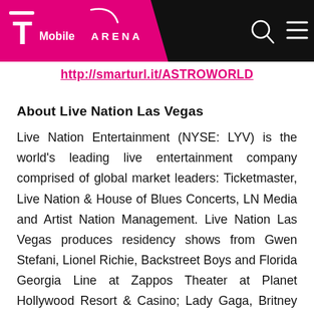[Figure (logo): T-Mobile Arena logo on pink and black header bar with search and menu icons]
http://smarturl.it/ASTROWORLD
About Live Nation Las Vegas
Live Nation Entertainment (NYSE: LYV) is the world's leading live entertainment company comprised of global market leaders: Ticketmaster, Live Nation & House of Blues Concerts, LN Media and Artist Nation Management. Live Nation Las Vegas produces residency shows from Gwen Stefani, Lionel Richie, Backstreet Boys and Florida Georgia Line at Zappos Theater at Planet Hollywood Resort & Casino; Lady Gaga, Britney Spears, Aerosmith, Bruno Mars, Stevie Wonder and